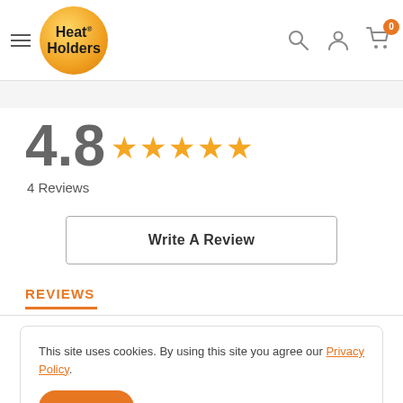[Figure (logo): Heat Holders logo — orange circle with white/gold gradient and bold black text 'Heat Holders' inside]
4.8 ★★★★★ 4 Reviews
Write A Review
REVIEWS
This site uses cookies. By using this site you agree our Privacy Policy.
Accept